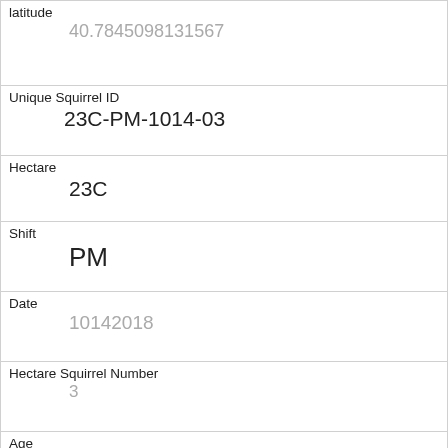| Field | Value |
| --- | --- |
| latitude | 40.7845098131567 |
| Unique Squirrel ID | 23C-PM-1014-03 |
| Hectare | 23C |
| Shift | PM |
| Date | 10142018 |
| Hectare Squirrel Number | 3 |
| Age | Adult |
| Primary Fur Color | Gray |
| Highlight Fur Color |  |
| Combination of Primary and Highlight Color | Gray+ |
| Color notes |  |